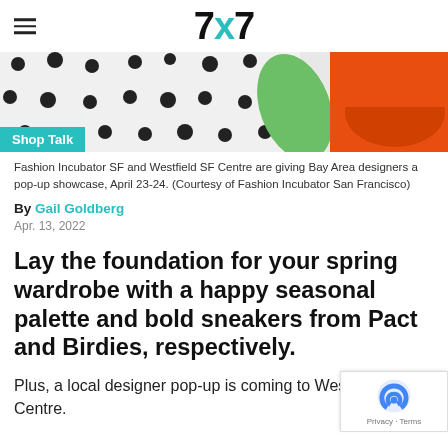7x7
[Figure (photo): Overhead photo of polka-dot fabric with dragon fruit and an orange sneaker/shoe, used as hero image for a fashion article]
Fashion Incubator SF and Westfield SF Centre are giving Bay Area designers a pop-up showcase, April 23-24. (Courtesy of Fashion Incubator San Francisco)
By Gail Goldberg
Apr. 13, 2022
Lay the foundation for your spring wardrobe with a happy seasonal palette and bold sneakers from Pact and Birdies, respectively.
Plus, a local designer pop-up is coming to Westfield SF Centre.